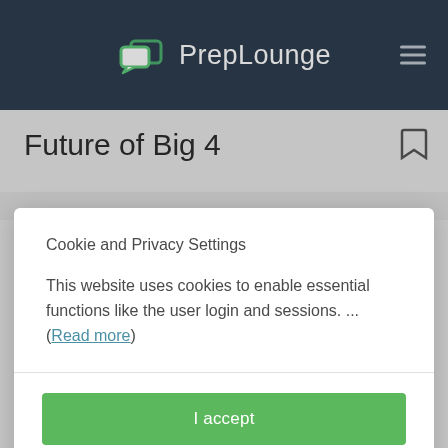PrepLounge
Future of Big 4
Cookie and Privacy Settings
This website uses cookies to enable essential functions like the user login and sessions. ... (Read more)
I accept
Manage settings individually
prestige?